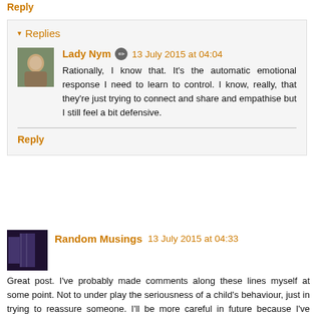Reply
▾ Replies
Lady Nym  13 July 2015 at 04:04
Rationally, I know that. It's the automatic emotional response I need to learn to control. I know, really, that they're just trying to connect and share and empathise but I still feel a bit defensive.
Reply
Random Musings  13 July 2015 at 04:33
Great post. I've probably made comments along these lines myself at some point. Not to under play the seriousness of a child's behaviour, just in trying to reassure someone. I'll be more careful in future because I've never considered it from this view point before, and I would hate to think I offended anyone